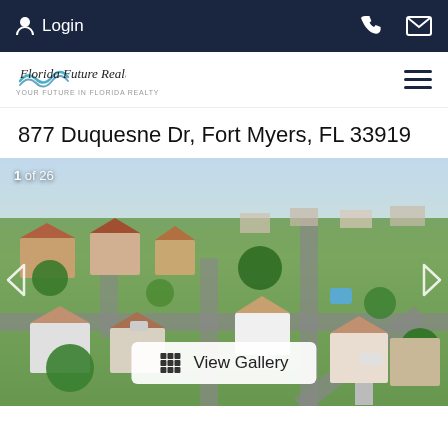Login
[Figure (logo): Florida Future Realty logo with wave graphic and tagline 'Your Future in Florida Realty']
877 Duquesne Dr, Fort Myers, FL 33919
[Figure (photo): Aerial drone photograph of a Florida residential neighborhood showing houses with red/orange tile roofs, green lawns, tree-lined streets, and an intersection. Counter shows 1 of 26. A 'View Gallery' button is overlaid at the bottom center.]